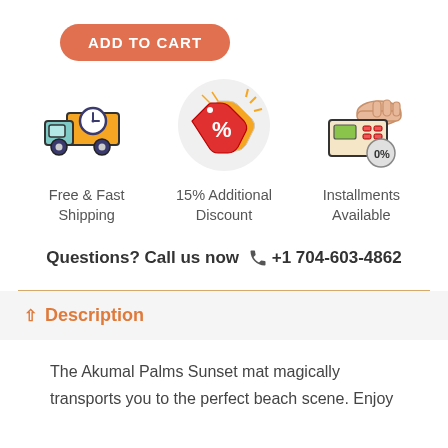[Figure (other): ADD TO CART orange rounded button]
[Figure (illustration): Three icons: delivery truck with clock (Free & Fast Shipping), discount tags with percent (15% Additional Discount), hand holding credit card terminal (Installments Available)]
Free & Fast Shipping
15% Additional Discount
Installments Available
Questions? Call us now  +1 704-603-4862
Description
The Akumal Palms Sunset mat magically transports you to the perfect beach scene. Enjoy